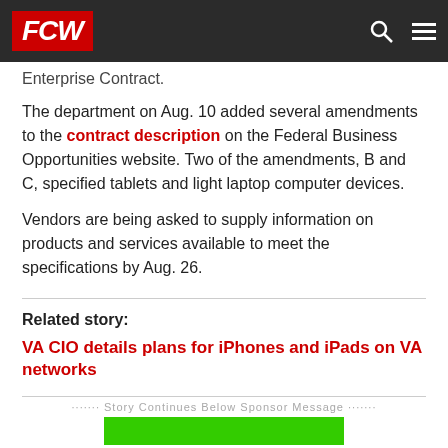FCW
Enterprise Contract.
The department on Aug. 10 added several amendments to the contract description on the Federal Business Opportunities website. Two of the amendments, B and C, specified tablets and light laptop computer devices.
Vendors are being asked to supply information on products and services available to meet the specifications by Aug. 26.
Related story:
VA CIO details plans for iPhones and iPads on VA networks
....... Story Continues Below Sponsor Message .......
[Figure (other): Green advertisement banner]